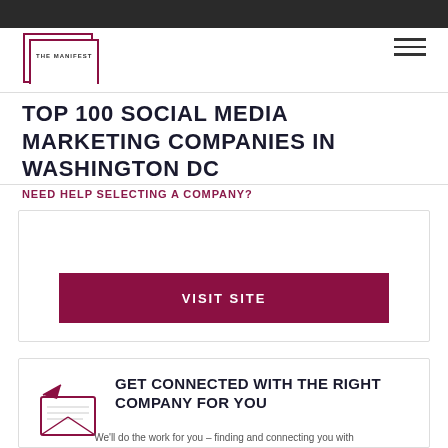THE MANIFEST
TOP 100 SOCIAL MEDIA MARKETING COMPANIES IN WASHINGTON DC
NEED HELP SELECTING A COMPANY?
[Figure (other): VISIT SITE button (dark red/maroon rectangular button)]
[Figure (illustration): Envelope with paper airplane icon in dark red/maroon]
GET CONNECTED WITH THE RIGHT COMPANY FOR YOU
We'll do the work for you – finding and connecting you with